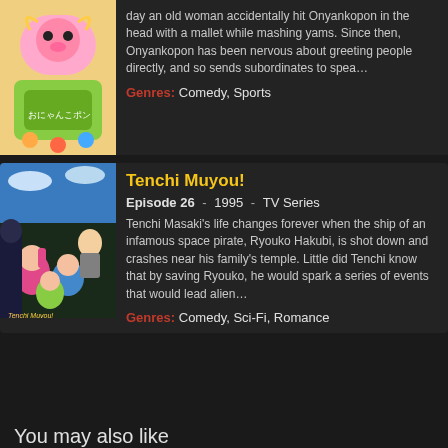day an old woman accidentally hit Onyankopon in the head with a mallet while mashing yams. Since then, Onyankopon has been nervous about greeting people directly, and so sends subordinates to spea…
Genres: Comedy, Sports
Tenchi Muyou!
Episode 26 - 1995 - TV Series
Tenchi Masaki's life changes forever when the ship of an infamous space pirate, Ryouko Hakubi, is shot down and crashes near his family's temple. Little did Tenchi know that by saving Ryouko, he would spark a series of events that would lead alien…
Genres: Comedy, Sci-Fi, Romance
You may also like